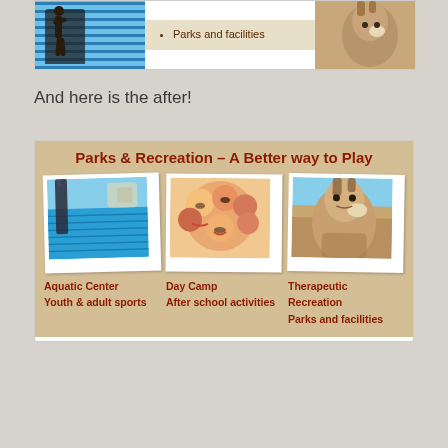[Figure (infographic): Partial top banner showing swimming pool/aquatic scene on left, bullet point 'Parks and facilities' in center on tan background, and horse photo on right]
And here is the after!
[Figure (infographic): Parks & Recreation – A Better way to Play banner with three polaroid-style photos: Aquatic Center/pool, Day Camp/children smiling, Therapeutic Recreation/horse. Labels below each photo.]